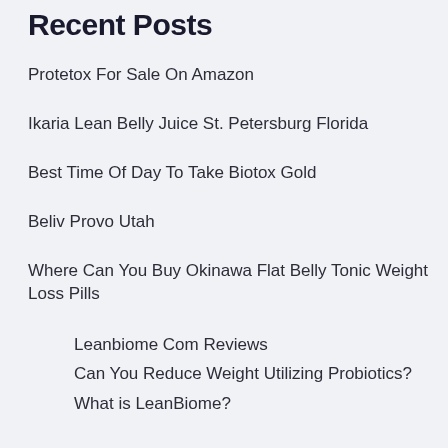Recent Posts
Protetox For Sale On Amazon
Ikaria Lean Belly Juice St. Petersburg Florida
Best Time Of Day To Take Biotox Gold
Beliv Provo Utah
Where Can You Buy Okinawa Flat Belly Tonic Weight Loss Pills
Leanbiome Com Reviews
Can You Reduce Weight Utilizing Probiotics?
What is LeanBiome?